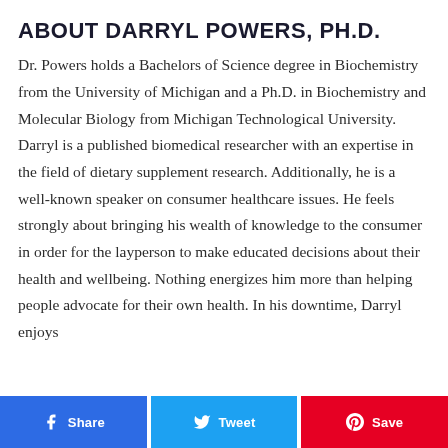ABOUT DARRYL POWERS, PH.D.
Dr. Powers holds a Bachelors of Science degree in Biochemistry from the University of Michigan and a Ph.D. in Biochemistry and Molecular Biology from Michigan Technological University. Darryl is a published biomedical researcher with an expertise in the field of dietary supplement research. Additionally, he is a well-known speaker on consumer healthcare issues. He feels strongly about bringing his wealth of knowledge to the consumer in order for the layperson to make educated decisions about their health and wellbeing. Nothing energizes him more than helping people advocate for their own health. In his downtime, Darryl enjoys